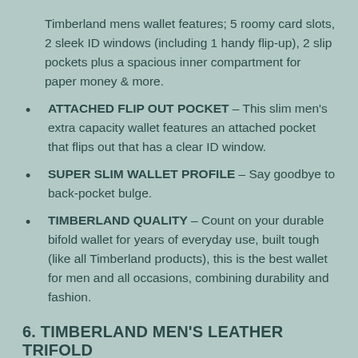Timberland mens wallet features; 5 roomy card slots, 2 sleek ID windows (including 1 handy flip-up), 2 slip pockets plus a spacious inner compartment for paper money & more.
ATTACHED FLIP OUT POCKET – This slim men's extra capacity wallet features an attached pocket that flips out that has a clear ID window.
SUPER SLIM WALLET PROFILE – Say goodbye to back-pocket bulge.
TIMBERLAND QUALITY – Count on your durable bifold wallet for years of everyday use, built tough (like all Timberland products), this is the best wallet for men and all occasions, combining durability and fashion.
6. TIMBERLAND MEN'S LEATHER TRIFOLD